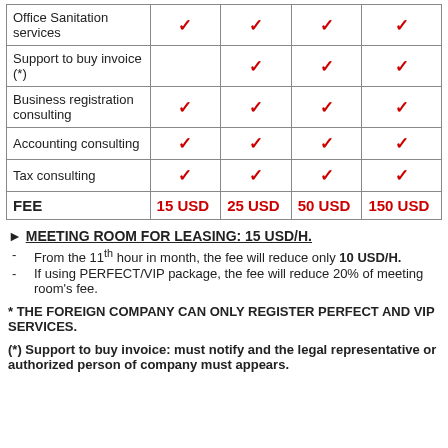| Service | Col1 | Col2 | Col3 | Col4 |
| --- | --- | --- | --- | --- |
| Office Sanitation services | ✓ | ✓ | ✓ | ✓ |
| Support to buy invoice (*) |  | ✓ | ✓ | ✓ |
| Business registration consulting | ✓ | ✓ | ✓ | ✓ |
| Accounting consulting | ✓ | ✓ | ✓ | ✓ |
| Tax consulting | ✓ | ✓ | ✓ | ✓ |
| FEE | 15 USD | 25 USD | 50 USD | 150 USD |
► MEETING ROOM FOR LEASING:  15 USD/H.
From the 11th hour in month, the fee will reduce only 10 USD/H.
If using PERFECT/VIP package, the fee will reduce 20% of meeting room's fee.
* THE FOREIGN COMPANY CAN ONLY REGISTER PERFECT AND VIP SERVICES.
(*) Support to buy invoice: must notify and the legal representative or authorized person of company must appears.